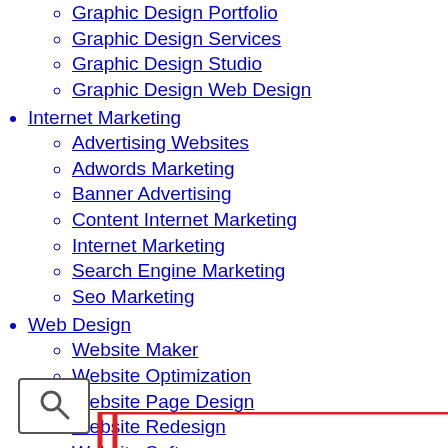Graphic Design Services
Graphic Design Studio
Graphic Design Web Design
Internet Marketing
Advertising Websites
Adwords Marketing
Banner Advertising
Content Internet Marketing
Internet Marketing
Search Engine Marketing
Seo Marketing
Web Design
Website Maker
Website Optimization
Website Page Design
Website Redesign
Website Software
Website Templates
[Figure (screenshot): Search button icon and partial screenshot of a web design graphic with red rectangular outlines and dark bar at bottom]